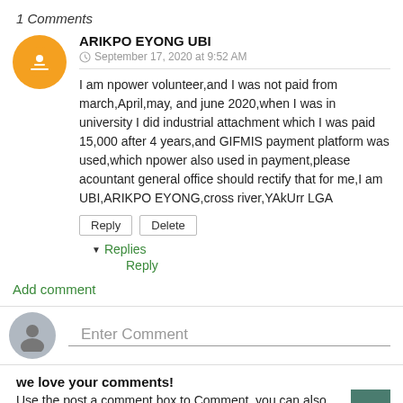1 Comments
ARIKPO EYONG UBI
September 17, 2020 at 9:52 AM

I am npower volunteer,and I was not paid from march,April,may, and june 2020,when I was in university I did industrial attachment which I was paid 15,000 after 4 years,and GIFMIS payment platform was used,which npower also used in payment,please acountant general office should rectify that for me,I am UBI,ARIKPO EYONG,cross river,YAkUrr LGA
Reply  Delete
▾ Replies
Reply
Add comment
Enter Comment
we love your comments!
Use the post a comment box to Comment, you can also join our facebook discussion Click Here